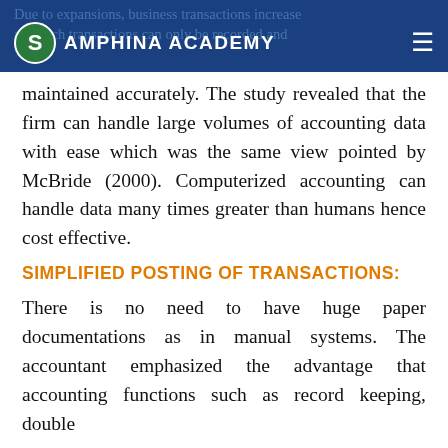SAMPHINA ACADEMY
maintained accurately. The study revealed that the firm can handle large volumes of accounting data with ease which was the same view pointed by McBride (2000). Computerized accounting can handle data many times greater than humans hence cost effective.
SIMPLIFIED POSTING OF TRANSACTIONS:
There is no need to have huge paper documentations as in manual systems. The accountant emphasized the advantage that accounting functions such as record keeping, double entry bookkeeping simplified with computerised